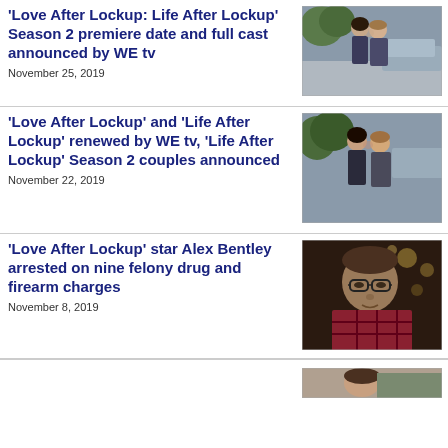'Love After Lockup: Life After Lockup' Season 2 premiere date and full cast announced by WE tv
November 25, 2019
[Figure (photo): Couple kissing outdoors near trees and a car]
'Love After Lockup' and 'Life After Lockup' renewed by WE tv, 'Life After Lockup' Season 2 couples announced
November 22, 2019
[Figure (photo): Couple near each other outdoors with trees in background]
'Love After Lockup' star Alex Bentley arrested on nine felony drug and firearm charges
November 8, 2019
[Figure (photo): Man with glasses wearing plaid shirt in indoor setting]
[Figure (photo): Partial image of fourth article at bottom]